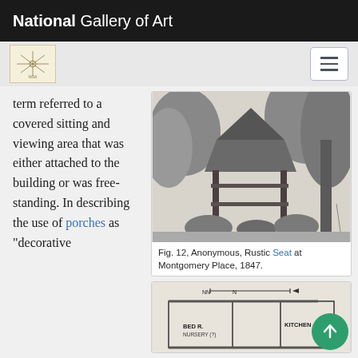National Gallery of Art
term referred to a covered sitting and viewing area that was either attached to the building or was free-standing. In describing the use of porches as "decorative
[Figure (illustration): Black and white engraving of a rustic wooden seat/shelter structure with a thatched or leafy roof, surrounded by trees and foliage. Montgomery Place, 1847.]
Fig. 12, Anonymous, Rustic Seat at Montgomery Place, 1847.
[Figure (engineering-diagram): Architectural floor plan diagram showing rooms labeled BED R., KITCHEN, and other spaces with scale bar at top.]